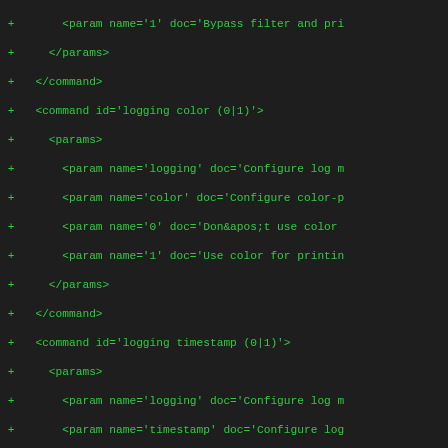code diff showing XML command/param definitions for logging configuration
+ <param name='1' doc='Bypass filter and pri
+ </params>
+ </command>
+ <command id='logging color (0|1)'>
+ <params>
+ <param name='logging' doc='Configure log m
+ <param name='color' doc='Configure color-p
+ <param name='0' doc='Don&apos;t use color
+ <param name='1' doc='Use color for printin
+ </params>
+ </command>
+ <command id='logging timestamp (0|1)'>
+ <params>
+ <param name='logging' doc='Configure log m
+ <param name='timestamp' doc='Configure log
+ <param name='0' doc='Don&apos;t prefix eac
+ <param name='1' doc='Prefix each log messa
+ </params>
+ </command>
+ <command id='logging level (all|rll|cc|mm|rr|r
+ <params>
+ <param name='logging' doc='Configure log m
+ <param name='level' doc='Set the log level
+ <param name='all' doc='Global setting for
+ <param name='rll' doc='A-bis Radio Link La
+ <param name='cc' doc='Layer3 Call Control
+ <param name='mm' doc='Layer3 Mobility Mana
+ <param name='rr' doc='Layer3 Radio Resourc
+ <param name='rsl' doc='A-bis Radio Siganll
+ <param name='nm' doc='A-bis Network Manage